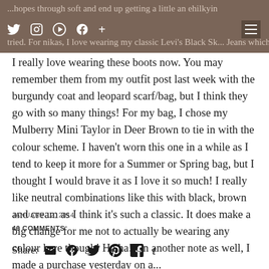...hopes through soft and end up getting a little an ehilkyin tried. For nikas, I love wearing my classic Levi's Black Skinny Jeans which I tucked into my Zara black pointed boots
I really love wearing these boots now. You may remember them from my outfit post last week with the burgundy coat and leopard scarf/bag, but I think they go with so many things! For my bag, I chose my Mulberry Mini Taylor in Deer Brown to tie in with the colour scheme. I haven't worn this one in a while as I tend to keep it more for a Summer or Spring bag, but I thought I would brave it as I love it so much! I really like neutral combinations like this with black, brown and cream as I think it's such a classic. It does make a big change for me not to actually be wearing any colour here though! Ha ha! On another note as well, I made a purchase yesterday on a...
JANUARY 12, 2014
46 COMMENTS
Share: